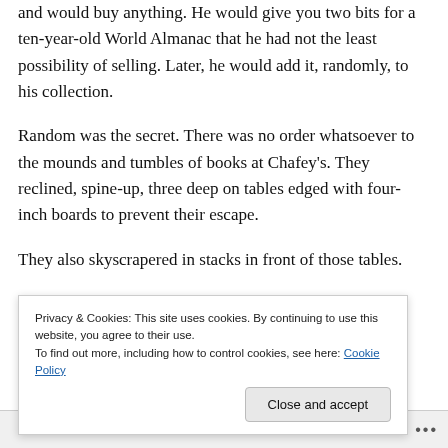and would buy anything. He would give you two bits for a ten-year-old World Almanac that he had not the least possibility of selling. Later, he would add it, randomly, to his collection.
Random was the secret. There was no order whatsoever to the mounds and tumbles of books at Chafey's. They reclined, spine-up, three deep on tables edged with four-inch boards to prevent their escape.
They also skyscrapered in stacks in front of those tables.
They also skyscrapered in stacks in front of those tables. (cut off)
Privacy & Cookies: This site uses cookies. By continuing to use this website, you agree to their use. To find out more, including how to control cookies, see here: Cookie Policy
Close and accept
Follow ...